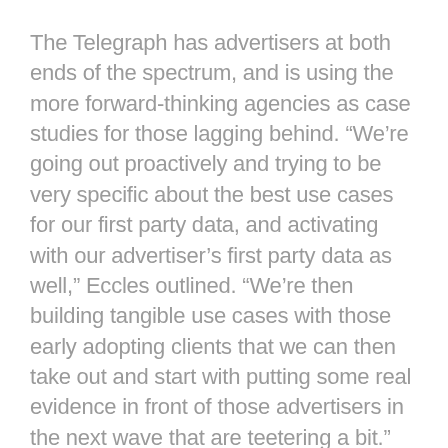The Telegraph has advertisers at both ends of the spectrum, and is using the more forward-thinking agencies as case studies for those lagging behind. “We’re going out proactively and trying to be very specific about the best use cases for our first party data, and activating with our advertiser’s first party data as well,” Eccles outlined. “We’re then building tangible use cases with those early adopting clients that we can then take out and start with putting some real evidence in front of those advertisers in the next wave that are teetering a bit.”
Eccles wants to also get a greater understanding of the strategic and business outcomes that advertisers are working